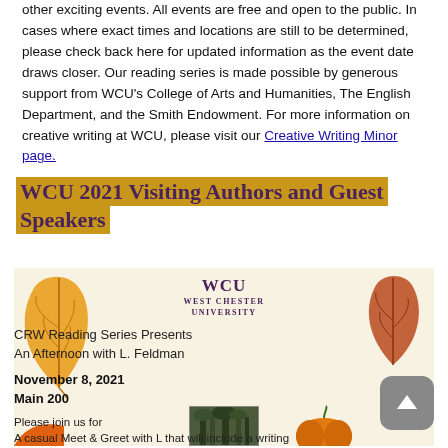other exciting events. All events are free and open to the public. In cases where exact times and locations are still to be determined, please check back here for updated information as the event date draws closer. Our reading series is made possible by generous support from WCU's College of Arts and Humanities, The English Department, and the Smith Endowment. For more information on creative writing at WCU, please visit our Creative Writing Minor page.
WCU 2021 Visiting Authors and Guest Speakers
[Figure (illustration): Event flyer for WCU CRW Reading Series featuring autumn leaves decoration. Text reads: WCU West Chester University. CRW Reading Series Presents An Afternoon with L. Feldman. November 8, 2021. Main 200. Please join us for A casual Meet & Greet with L that will include a writing exercise. Open to all students. 3:00 - 4:15. With autumn leaf decorations on sides and a photo at bottom.]